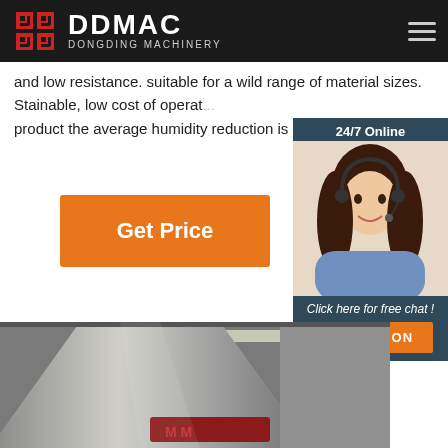DDMAC DONGDING MACHINERY
and low resistance. suitable for a wild range of material sizes. Stainable, low cost of operat... product the average humidity reduction is g...
Get Price
[Figure (photo): Customer service representative with headset, 24/7 Online chat widget with QUOTATION button]
[Figure (photo): Industrial machinery equipment - large cone/funnel shaped machine component in warehouse setting with DDMAC logo visible]